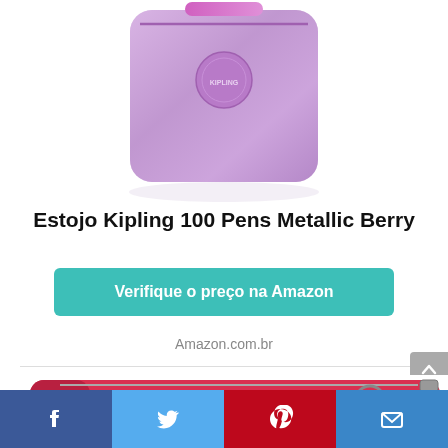[Figure (photo): Metallic pink/purple Kipling 100 Pens pencil case, viewed from front with zipper at top, on white background with reflection]
Estojo Kipling 100 Pens Metallic Berry
Verifique o preço na Amazon
Amazon.com.br
[Figure (photo): Red Kipling pencil case with metal ring zipper pull, on white background]
Facebook | Twitter | Pinterest | Email